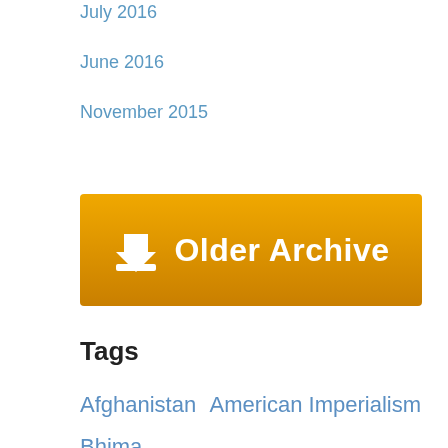July 2016
June 2016
November 2015
[Figure (other): Older Archive button with download icon, golden gradient background]
Tags
Afghanistan  American Imperialism  Bhima Koregaon  Black Lives Matter  Book Review  Capitalism